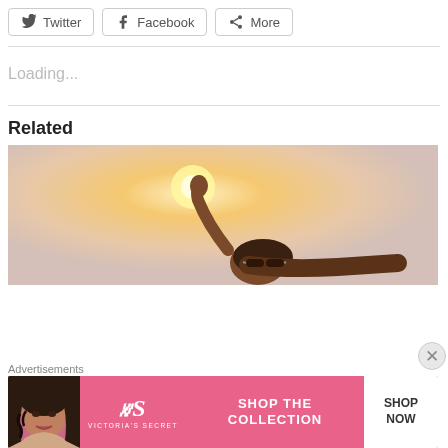[Figure (screenshot): Social share buttons: Twitter, Facebook, More]
Loading...
Related
[Figure (photo): A person lying back with arm raised, backlit by warm sunlight, against a light sky background.]
Advertisements
[Figure (infographic): Victoria's Secret advertisement banner: 'SHOP THE COLLECTION' with a 'SHOP NOW' button, featuring a model, pink background, and the VS logo.]